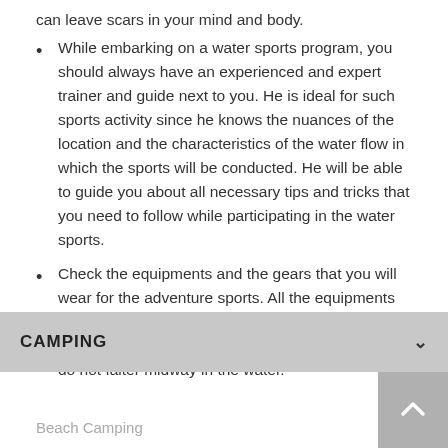can leave scars in your mind and body.
While embarking on a water sports program, you should always have an experienced and expert trainer and guide next to you. He is ideal for such sports activity since he knows the nuances of the location and the characteristics of the water flow in which the sports will be conducted. He will be able to guide you about all necessary tips and tricks that you need to follow while participating in the water sports.
Check the equipments and the gears that you will wear for the adventure sports. All the equipments and the gears must be in excellent condition and must be tried and tested several times so that they do not falter midway in the water.
CAMPING
Beach Camping